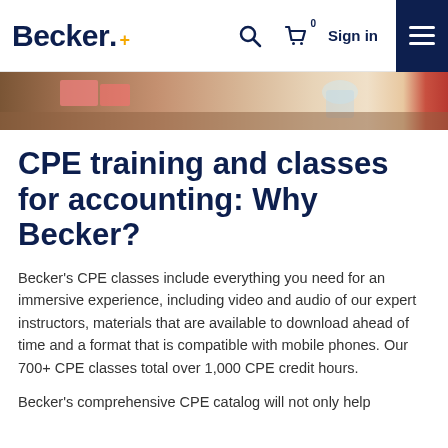Becker+ | Sign in
[Figure (photo): Partial hero image showing study materials on a desk with pink sticky notes and a glass]
CPE training and classes for accounting: Why Becker?
Becker's CPE classes include everything you need for an immersive experience, including video and audio of our expert instructors, materials that are available to download ahead of time and a format that is compatible with mobile phones. Our 700+ CPE classes total over 1,000 CPE credit hours.
Becker's comprehensive CPE catalog will not only help